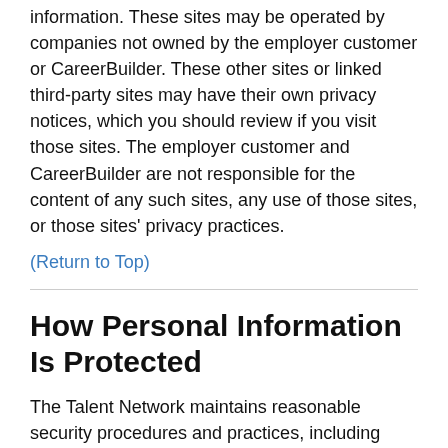information. These sites may be operated by companies not owned by the employer customer or CareerBuilder. These other sites or linked third-party sites may have their own privacy notices, which you should review if you visit those sites. The employer customer and CareerBuilder are not responsible for the content of any such sites, any use of those sites, or those sites' privacy practices.
(Return to Top)
How Personal Information Is Protected
The Talent Network maintains reasonable security procedures and practices, including administrative, technical and physical